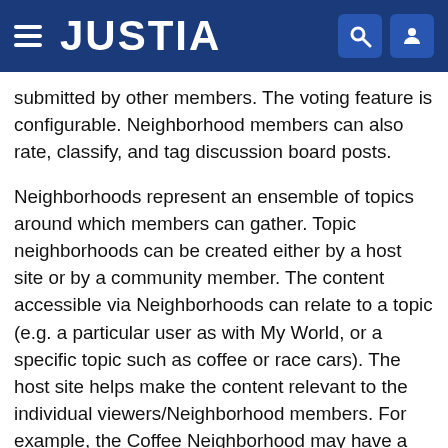JUSTIA
submitted by other members. The voting feature is configurable. Neighborhood members can also rate, classify, and tag discussion board posts.
Neighborhoods represent an ensemble of topics around which members can gather. Topic neighborhoods can be created either by a host site or by a community member. The content accessible via Neighborhoods can relate to a topic (e.g. a particular user as with My World, or a specific topic such as coffee or race cars). The host site helps make the content relevant to the individual viewers/Neighborhood members. For example, the Coffee Neighborhood may have a module for local coffee shops in the area based on postal zip code. The host site provides the matching of relevant backend data, so that a viewer in the zip code 95125 can see, for example, information related to the Starbuck's Coffee